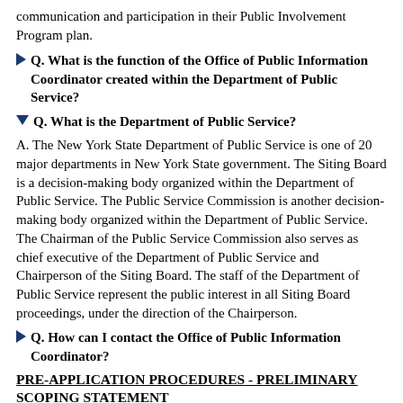communication and participation in their Public Involvement Program plan.
Q. What is the function of the Office of Public Information Coordinator created within the Department of Public Service?
Q. What is the Department of Public Service?
A. The New York State Department of Public Service is one of 20 major departments in New York State government. The Siting Board is a decision-making body organized within the Department of Public Service. The Public Service Commission is another decision-making body organized within the Department of Public Service. The Chairman of the Public Service Commission also serves as chief executive of the Department of Public Service and Chairperson of the Siting Board. The staff of the Department of Public Service represent the public interest in all Siting Board proceedings, under the direction of the Chairperson.
Q. How can I contact the Office of Public Information Coordinator?
PRE-APPLICATION PROCEDURES - PRELIMINARY SCOPING STATEMENT
Q. What is a Preliminary Scoping Statement?